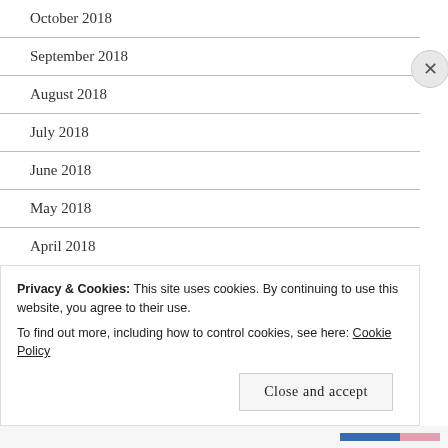October 2018
September 2018
August 2018
July 2018
June 2018
May 2018
April 2018
March 2018
February 2018
Privacy & Cookies: This site uses cookies. By continuing to use this website, you agree to their use.
To find out more, including how to control cookies, see here: Cookie Policy
Close and accept